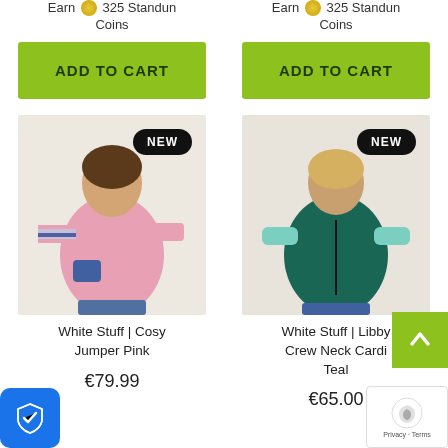Earn 325 Standun Coins
Earn 325 Standun Coins
ADD TO CART
ADD TO CART
[Figure (photo): Woman wearing pink jumper with blue striped sleeves, NEW badge]
[Figure (photo): Woman wearing teal crew neck cardigan, NEW badge]
White Stuff | Cosy Jumper Pink
White Stuff | Libby Crew Neck Cardigan Teal
€79.99
€65.00